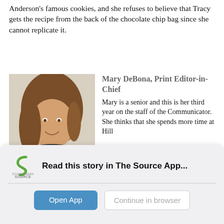Anderson's famous cookies, and she refuses to believe that Tracy gets the recipe from the back of the chocolate chip bag since she cannot replicate it.
[Figure (photo): Photo of Mary DeBona, a young woman with long brown hair wearing a dark scarf and top, smiling.]
Mary DeBona, Print Editor-in-Chief
Mary is a senior and this is her third year on the staff of the Communicator. She thinks that she spends more time at Hill Pool at Pioneer High School than she does anywhere else, including her own home. She enjoys playing water polo, watching 'Friends,' eating Ben & Jerry's ice cream, and being in nature.
[Figure (logo): Student News Source logo — a green 'S' curl with 'STUDENT NEWS SOURCE' text below]
Read this story in The Source App...
Open App
Continue in browser